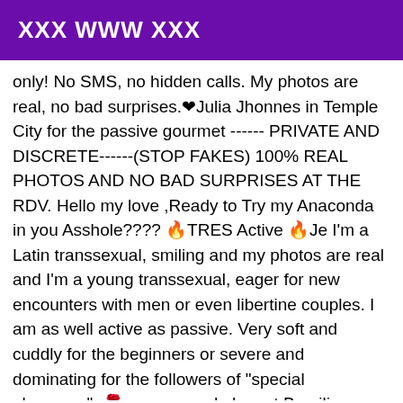XXX WWW XXX
only! No SMS, no hidden calls. My photos are real, no bad surprises.❤Julia Jhonnes in Temple City for the passive gourmet ------ PRIVATE AND DISCRETE------(STOP FAKES) 100% REAL PHOTOS AND NO BAD SURPRISES AT THE RDV. Hello my love ,Ready to Try my Anaconda in you Asshole???? 🔥TRES Active 🔥Je I'm a Latin transsexual, smiling and my photos are real and I'm a young transsexual, eager for new encounters with men or even libertine couples. I am as well active as passive. Very soft and cuddly for the beginners or severe and dominating for the followers of "special pleasures". 🌹 a warm and elegant Brazilian Trans for a classy and elegant Renffez-vous, refined with a Temple City skin and honey with an intense look and a mischievous smile. I am ACTIVE and PASSIVE 🔥 !!!!!!*** PICTURES 100% REAL***!!!! *** AVAILABLE FROM 10:00 AM TO 00:00 AM *** APPOINTMENT 30 MIN